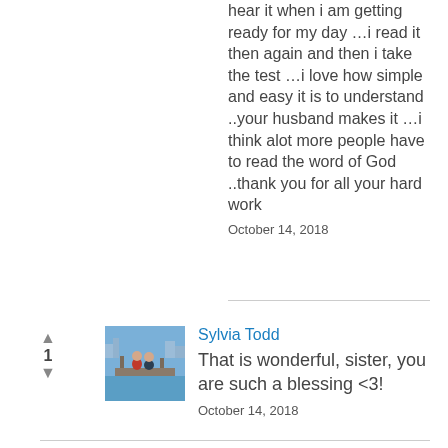hear it when i am getting ready for my day …i read it then again and then i take the test …i love how simple and easy it is to understand ..your husband makes it …i think alot more people have to read the word of God ..thank you for all your hard work
October 14, 2018
Sylvia Todd
That is wonderful, sister, you are such a blessing <3!
October 14, 2018